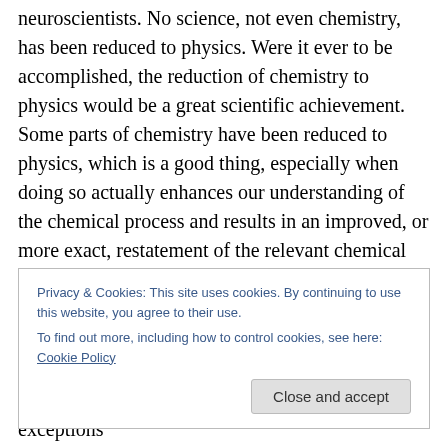neuroscientists. No science, not even chemistry, has been reduced to physics. Were it ever to be accomplished, the reduction of chemistry to physics would be a great scientific achievement. Some parts of chemistry have been reduced to physics, which is a good thing, especially when doing so actually enhances our understanding of the chemical process and results in an improved, or more exact, restatement of the relevant chemical laws. But it would be absurd and preposterous simply to reject, on supposed methodological principle, those parts of chemistry that have not been reduced to physics. And how
Privacy & Cookies: This site uses cookies. By continuing to use this website, you agree to their use.
To find out more, including how to control cookies, see here: Cookie Policy
the New Classical hegemony, insists on. No exceptions